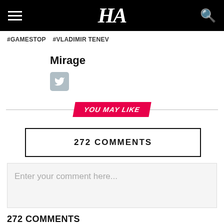HA
#GAMESTOP  #VLADIMIR TENEV
Mirage
[Figure (logo): Twitter bird icon button]
YOU MAY LIKE
272 COMMENTS
Enter your comment here...
272 COMMENTS
Oldest